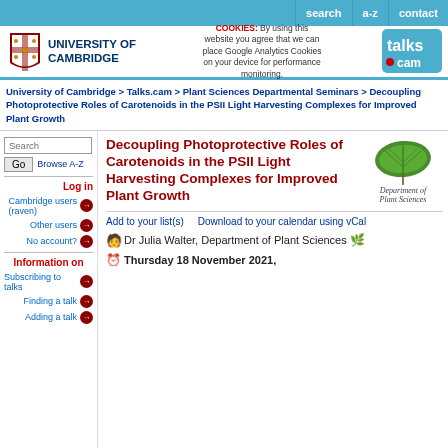search | a-z | contact
[Figure (logo): University of Cambridge logo with shield and text]
COOKIES: By using this website you agree that we can place Google Analytics Cookies on your device for performance monitoring.
[Figure (logo): talks.cam badge logo]
University of Cambridge > Talks.cam > Plant Sciences Departmental Seminars > Decoupling Photoprotective Roles of Carotenoids in the PSII Light Harvesting Complexes for Improved Plant Growth
Decoupling Photoprotective Roles of Carotenoids in the PSII Light Harvesting Complexes for Improved Plant Growth
[Figure (photo): Ginkgo leaf image above Department of Plant Sciences text]
Add to your list(s)    Download to your calendar using vCal
Dr Julia Walter, Department of Plant Sciences
Thursday 18 November 2021,